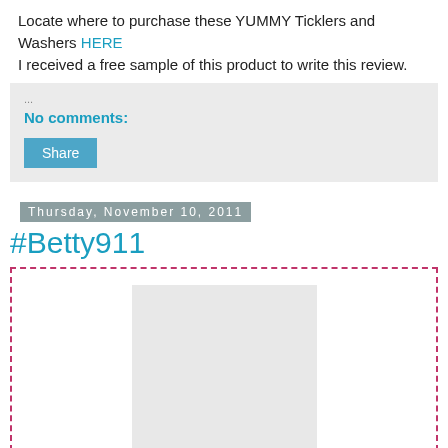Locate where to purchase these YUMMY Ticklers and Washers HERE
I received a free sample of this product to write this review.
No comments:
[Figure (screenshot): Share button UI element within a comment/interaction box on a blog post]
Thursday, November 10, 2011
#Betty911
[Figure (photo): Blog post image placeholder within a dashed pink border box]
Betty has your back as you prepare for Thanksgiving. Have a